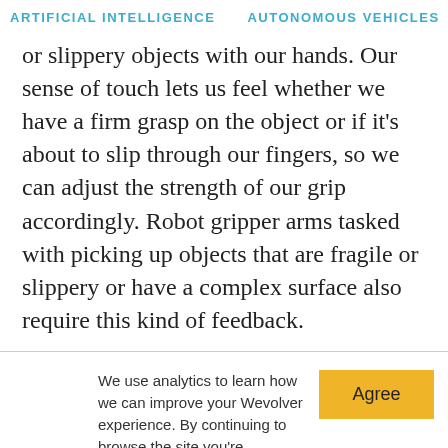ARTIFICIAL INTELLIGENCE   AUTONOMOUS VEHICLES   RO
or slippery objects with our hands. Our sense of touch lets us feel whether we have a firm grasp on the object or if it's about to slip through our fingers, so we can adjust the strength of our grip accordingly. Robot gripper arms tasked with picking up objects that are fragile or slippery or have a complex surface also require this kind of feedback.
We use analytics to learn how we can improve your Wevolver experience. By continuing to browse the site you're agreeing to our use of cookies to do so. You can read our cookie policy here.